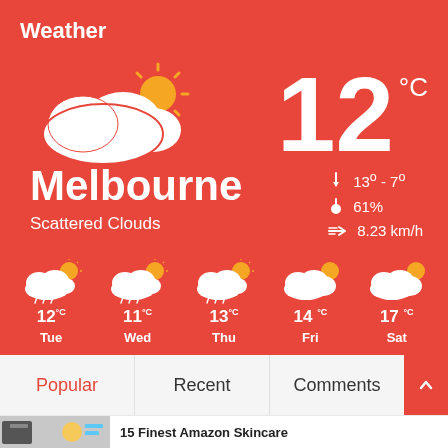Weather
12 °C
Melbourne
Scattered Clouds
13° - 7°
61%
8.23 km/h
[Figure (infographic): 5-day weather forecast showing Tue 12°C rainy, Wed 11°C rainy, Thu 13°C rainy, Fri 14°C cloudy, Sat 17°C cloudy]
Popular  Recent  Comments
15 Finest Amazon Skincare